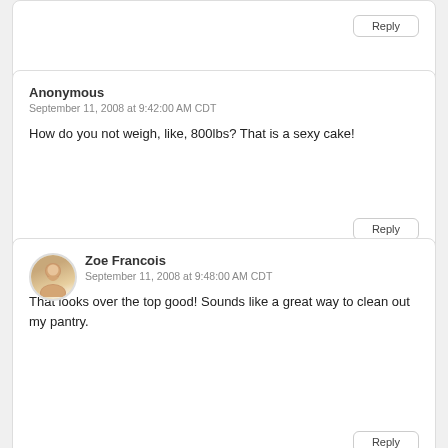Reply
Anonymous
September 11, 2008 at 9:42:00 AM CDT
How do you not weigh, like, 800lbs? That is a sexy cake!
Reply
Zoe Francois
September 11, 2008 at 9:48:00 AM CDT
That looks over the top good! Sounds like a great way to clean out my pantry.
Reply